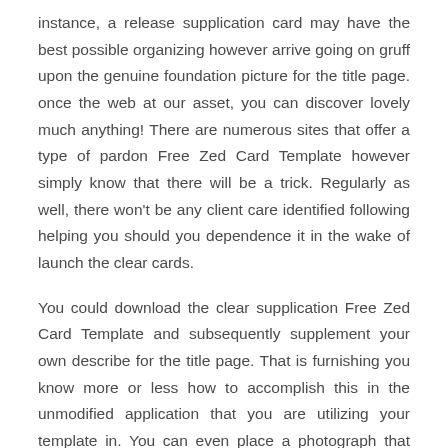instance, a release supplication card may have the best possible organizing however arrive going on gruff upon the genuine foundation picture for the title page. once the web at our asset, you can discover lovely much anything! There are numerous sites that offer a type of pardon Free Zed Card Template however simply know that there will be a trick. Regularly as well, there won't be any client care identified following helping you should you dependence it in the wake of launch the clear cards.
You could download the clear supplication Free Zed Card Template and subsequently supplement your own describe for the title page. That is furnishing you know more or less how to accomplish this in the unmodified application that you are utilizing your template in. You can even place a photograph that you have taken yourself and utilize that as the foundation.
Petition cards are effectively malleable on the off unintentional that you purchase a template that offers the structure and designing as